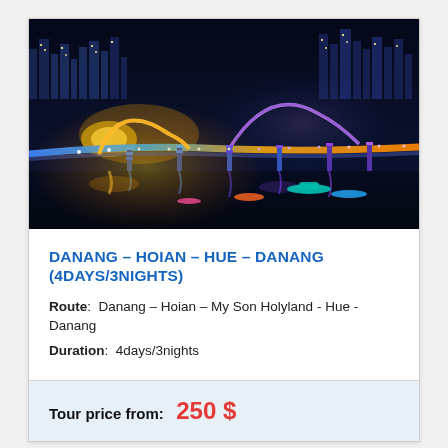[Figure (photo): Aerial night view of Da Nang Dragon Bridge illuminated with colorful lights reflecting on the Han River, with city lights in the background and boats on the water.]
DANANG – HOIAN – HUE – DANANG (4DAYS/3NIGHTS)
Route: Danang – Hoian – My Son Holyland - Hue - Danang
Duration: 4days/3nights
Tour price from: 250 $